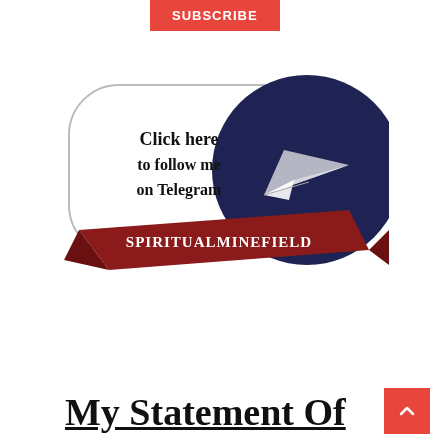[Figure (logo): Red Subscribe button in top left corner]
[Figure (illustration): Telegram follow button graphic: a rounded rectangle with 'Click here to follow me on Telegram' text, a dark navy circle with a white paper airplane, and a dark red ribbon banner with 'SPIRITUALMINEFIELD' text in white serif font]
My Statement Of